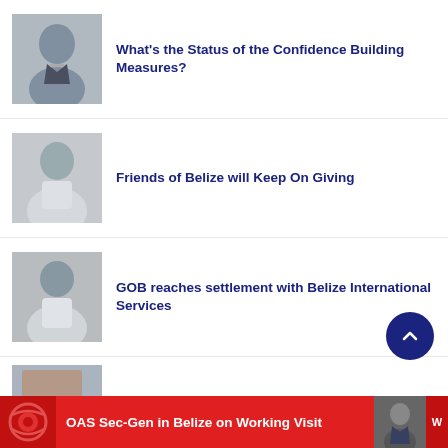[Figure (photo): Thumbnail photo of a person in a suit, grayscale/blurred, for news article 1]
What's the Status of the Confidence Building Measures?
[Figure (photo): Thumbnail photo of a person in white shirt, blurred, for news article 2]
Friends of Belize will Keep On Giving
[Figure (photo): Thumbnail photo of a person in white shirt, blurred, for news article 3]
GOB reaches settlement with Belize International Services
[Figure (photo): Partial thumbnail photo for news article 4, partially cropped]
OAS Sec-Gen in Belize on Working Visit